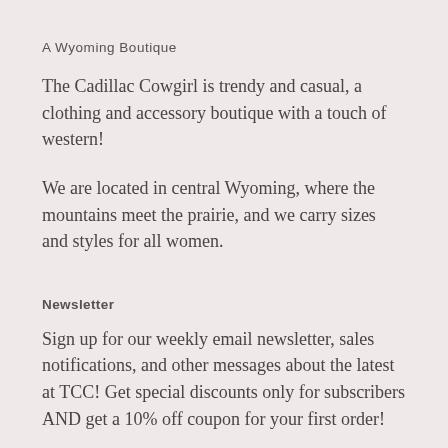A Wyoming Boutique
The Cadillac Cowgirl is trendy and casual, a clothing and accessory boutique with a touch of western!
We are located in central Wyoming, where the mountains meet the prairie, and we carry sizes and styles for all women.
Newsletter
Sign up for our weekly email newsletter, sales notifications, and other messages about the latest at TCC! Get special discounts only for subscribers AND get a 10% off coupon for your first order!